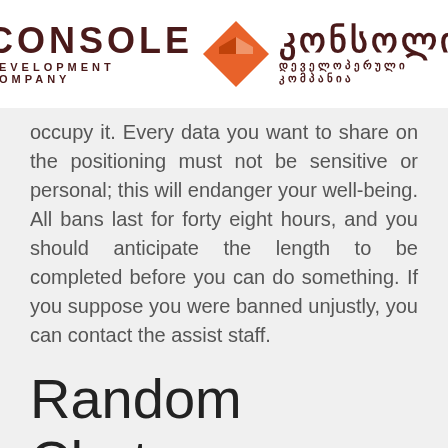CONSOLE DEVELOPMENT COMPANY | კონსოლი დეველოპერული კომპანია
occupy it. Every data you want to share on the positioning must not be sensitive or personal; this will endanger your well-being. All bans last for forty eight hours, and you should anticipate the length to be completed before you can do something. If you suppose you were banned unjustly, you can contact the assist staff.
Random Chat
I like each minutes of hanging on the market and aspire to see your finest accommodate. It began probably not that quick, however it is very clear